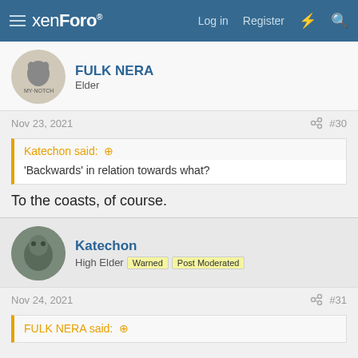xenForo — Log in  Register
FULK NERA
Elder
Nov 23, 2021  #30
Katechon said: 'Backwards' in relation towards what?
To the coasts, of course.
Katechon
High Elder  Warned  Post Moderated
Nov 24, 2021  #31
FULK NERA said: